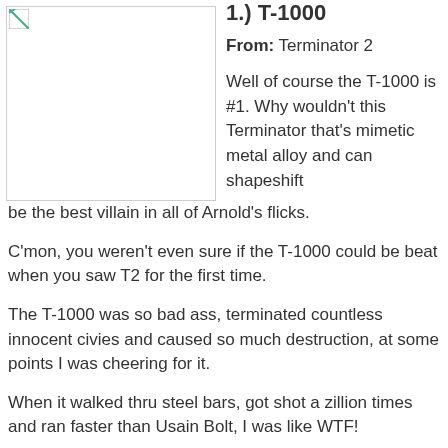1.) T-1000
From: Terminator 2
[Figure (photo): Image placeholder for T-1000]
Well of course the T-1000 is #1. Why wouldn't this Terminator that's mimetic metal alloy and can shapeshift be the best villain in all of Arnold's flicks.
C'mon, you weren't even sure if the T-1000 could be beat when you saw T2 for the first time.
The T-1000 was so bad ass, terminated countless innocent civies and caused so much destruction, at some points I was cheering for it.
When it walked thru steel bars, got shot a zillion times and ran faster than Usain Bolt, I was like WTF!